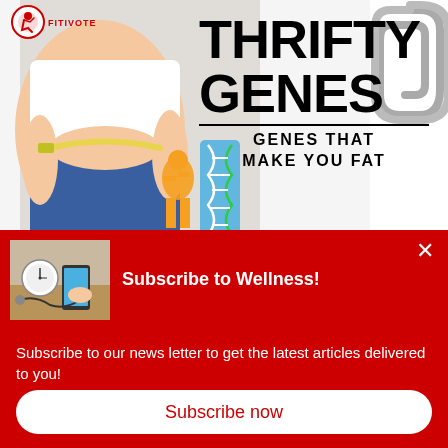[Figure (photo): Background image showing a woman measuring her waist with a tape measure, DNA helix graphic, orange human figure cutout, and a large paperclip/scissors in the upper right. FITIVOTE logo in upper left.]
THRIFTY GENES
GENES THAT MAKE YOU FAT
[Figure (photo): Small thumbnail image of a person with a phone and smartwatch on a table]
Subscribe to Wellness!
Subscribe to our news letter to get the latest articles delivered to you!
Subscribe now